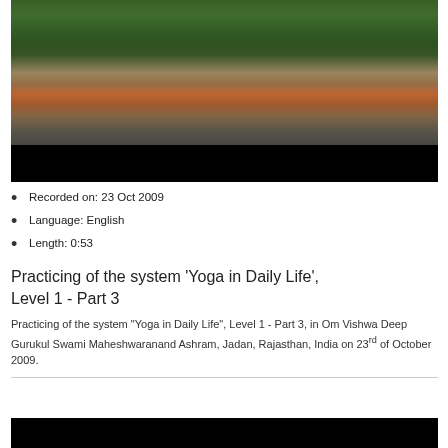[Figure (photo): Video thumbnail showing yoga practice session in an outdoor pavilion with trees in the background. Two people visible, one lying on the floor in yoga pose.]
Recorded on: 23 Oct 2009
Language: English
Length: 0:53
Practicing of the system 'Yoga in Daily Life', Level 1 - Part 3
Practicing of the system "Yoga in Daily Life", Level 1 - Part 3, in Om Vishwa Deep Gurukul Swami Maheshwaranand Ashram, Jadan, Rajasthan, India on 23rd of October 2009.
[Figure (screenshot): Black video thumbnail at bottom of page]